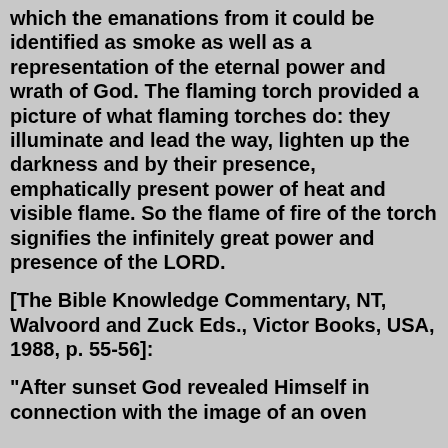which the emanations from it could be identified as smoke as well as a representation of the eternal power and wrath of God. The flaming torch provided a picture of what flaming torches do: they illuminate and lead the way, lighten up the darkness and by their presence, emphatically present power of heat and visible flame. So the flame of fire of the torch signifies the infinitely great power and presence of the LORD.
[The Bible Knowledge Commentary, NT, Walvoord and Zuck Eds., Victor Books, USA, 1988, p. 55-56]:
"After sunset God revealed Himself in connection with the image of an oven